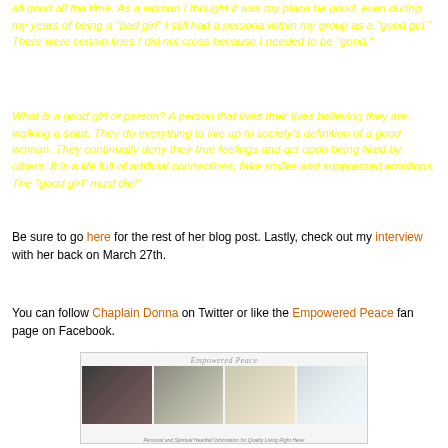all good all the time. As a woman I thought it was my place be good, even during my years of being a "bad girl" I still had a persona within my group as a "good girl." There were certain lines I did not cross because I needed to be "good."
What is a good girl or person? A person that lives their lives believing they are walking a saint. They do everything to live up to society's definition of a good woman. They continually deny their true feelings and act upon being liked by others. It is a life full of artificial connections, fake smiles and suppressed emotions. The "good girl" must die!"
Be sure to go here for the rest of her blog post. Lastly, check out my interview with her back on March 27th.
You can follow Chaplain Donna on Twitter or like the Empowered Peace fan page on Facebook.
[Figure (photo): Empowered Peace website screenshot showing logo and banner with four photo segments depicting couples, nature/water, hands on table, and a person meditating. Caption reads: Personal and Spiritual Heartfelt Information for Quality Living Right Here!]